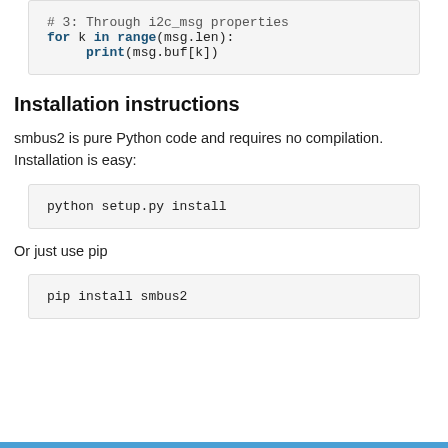# 3: Through i2c_msg properties
for k in range(msg.len):
    print(msg.buf[k])
Installation instructions
smbus2 is pure Python code and requires no compilation. Installation is easy:
python setup.py install
Or just use pip
pip install smbus2